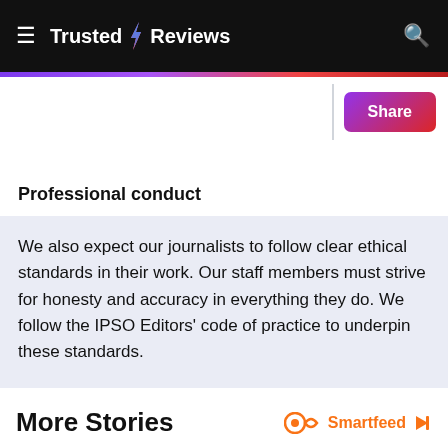Trusted Reviews
Professional conduct
We also expect our journalists to follow clear ethical standards in their work. Our staff members must strive for honesty and accuracy in everything they do. We follow the IPSO Editors' code of practice to underpin these standards.
More Stories